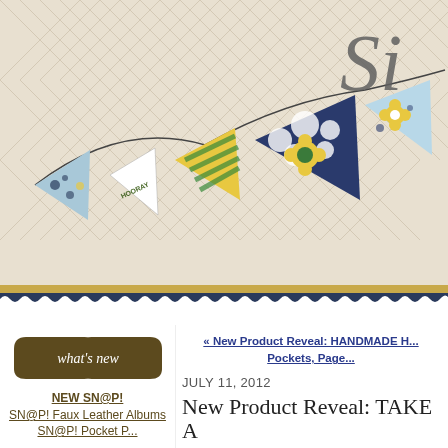[Figure (photo): Header banner image showing decorative pennant bunting flags in navy, yellow, green, and light blue floral/pattern fabrics hanging on a string over a herringbone wood background. Partial script logo text 'Si' visible top right.]
[Figure (illustration): Decorative scalloped border bar in navy blue with gold stripe above it]
[Figure (illustration): Brown hexagonal/shield shaped badge with 'what's new' in white italic text]
NEW SN@P!
SN@P! Faux Leather Albums
SN@P! Pocket P...
« New Product Reveal: HANDMADE H... Pockets, Page...
JULY 11, 2012
New Product Reveal: TAKE A